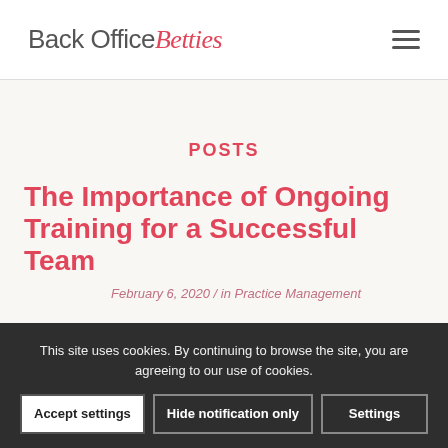Back Office Betties
POSTS
The Importance of Ongoing Training for a Successful Team
February 6, 2020 / in Practice Management
This site uses cookies. By continuing to browse the site, you are agreeing to our use of cookies.
Accept settings | Hide notification only | Settings